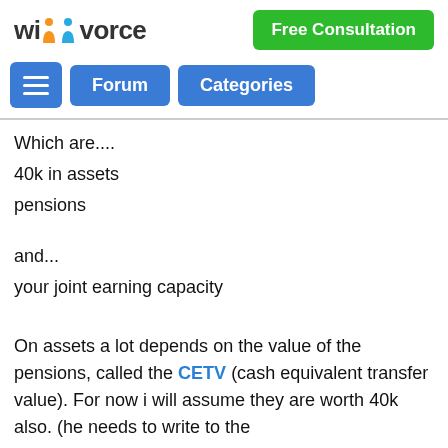wikivorce | Free Consultation
[Figure (screenshot): Navigation bar with hamburger menu, Forum and Categories buttons]
Which are....
40k in assets
pensions
and...
your joint earning capacity
On assets a lot depends on the value of the pensions, called the CETV (cash equivalent transfer value). For now i will assume they are worth 40k also. (he needs to write to the